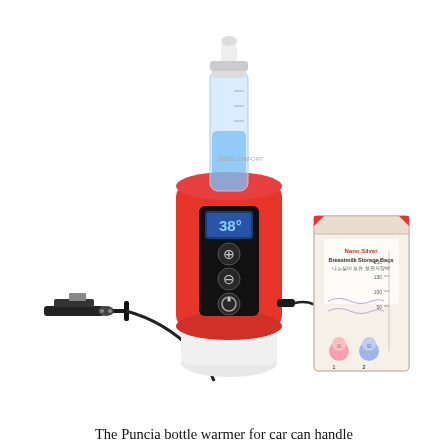[Figure (photo): Product photo showing a Puncia car bottle warmer with a red and white body, digital temperature display showing 38°C, plus/minus/power buttons, a 12V car plug adapter cable, holding a baby bottle, alongside a Nano Silver Breastmilk Storage Bag.]
The Puncia bottle warmer for car can handle